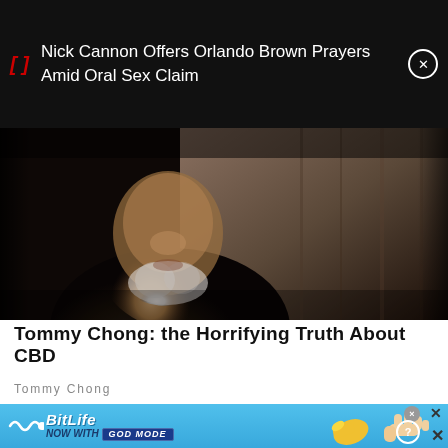Nick Cannon Offers Orlando Brown Prayers Amid Oral Sex Claim
[Figure (photo): Close-up photo of an older man with a white beard wearing a dark jacket, low-key dramatic lighting]
Tommy Chong: the Horrifying Truth About CBD
Tommy Chong
[Figure (screenshot): BitLife advertisement banner - NOW WITH GOD MODE, showing game logo and illustrated hands]